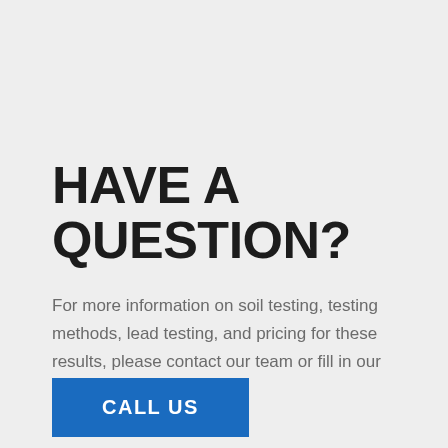HAVE A QUESTION?
For more information on soil testing, testing methods, lead testing, and pricing for these results, please contact our team or fill in our contact form:
CALL US